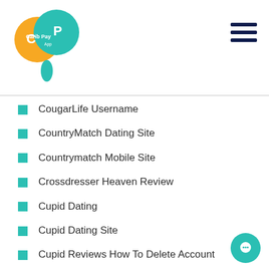[Figure (logo): Carib Pay App logo — circular icon with orange and teal overlapping circles with 'CP' letters, text 'Carib Pay App' inside]
CougarLife Username
CountryMatch Dating Site
Countrymatch Mobile Site
Crossdresser Heaven Review
Cupid Dating
Cupid Dating Site
Cupid Reviews How To Delete Account
Dating
Dating Apps And Hookup Culture
Dating For Seniors Adult Dating
Dating Fur 50-Jahrige Seiten